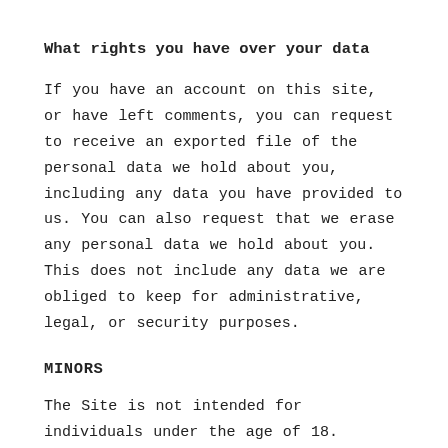What rights you have over your data
If you have an account on this site, or have left comments, you can request to receive an exported file of the personal data we hold about you, including any data you have provided to us. You can also request that we erase any personal data we hold about you. This does not include any data we are obliged to keep for administrative, legal, or security purposes.
MINORS
The Site is not intended for individuals under the age of 18.
CHANGES